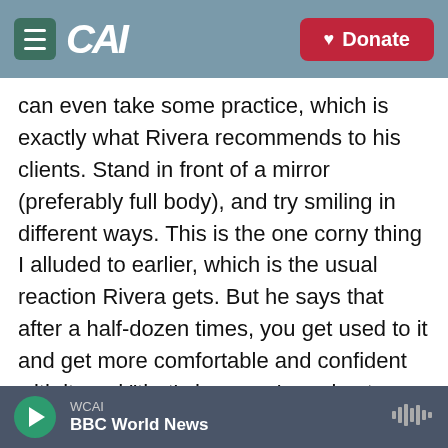CAI | Donate
can even take some practice, which is exactly what Rivera recommends to his clients. Stand in front of a mirror (preferably full body), and try smiling in different ways. This is the one corny thing I alluded to earlier, which is the usual reaction Rivera gets. But he says that after a half-dozen times, you get used to it and get more comfortable and confident with it, and "that's how you're going to start to show up."
Open with a question.
Don't overthink this one. Simple questions like
WCAI | BBC World News